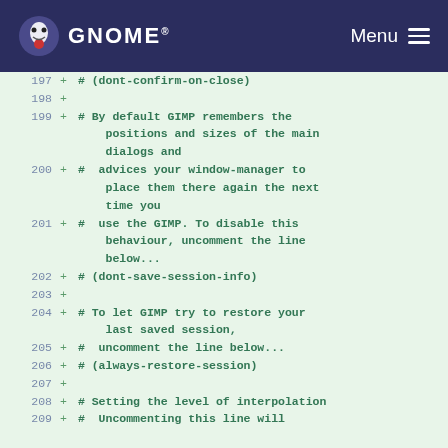GNOME Menu
[Figure (screenshot): Code diff viewer showing lines 197-209 of a GIMP configuration file with green background, line numbers in muted blue, plus signs in green, and code comments in green monospace font.]